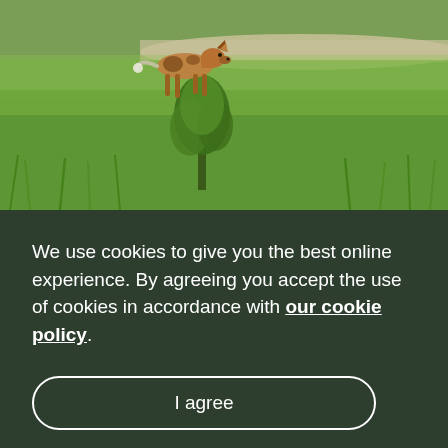[Figure (photo): A wild dog (African painted dog) walking through a grassy field. A dirt path is visible in the background. A small shrub or tree is in the foreground. The scene is lush and green.]
We use cookies to give you the best online experience. By agreeing you accept the use of cookies in accordance with our cookie policy.
I agree